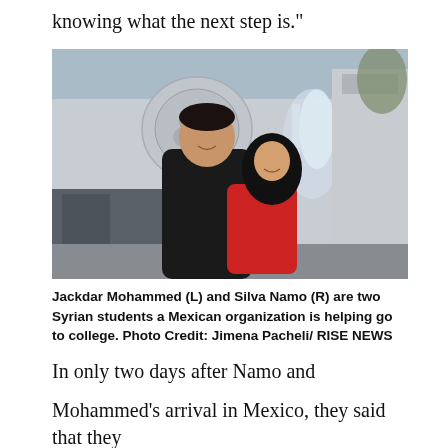knowing what the next step is."
[Figure (photo): Two Syrian students, Jackdar Mohammed (L) and Silva Namo (R), embracing and smiling in front of a building with a fountain in the background.]
Jackdar Mohammed (L) and Silva Namo (R) are two Syrian students a Mexican organization is helping go to college. Photo Credit: Jimena Pacheli/ RISE NEWS
In only two days after Namo and
Mohammed's arrival in Mexico, they said that they